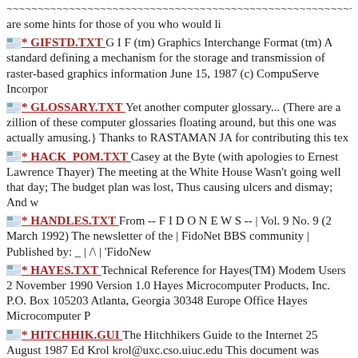~~~~~~~~~~~~~~~~~~~~~~~~~~~~~~~~~~~~~~~~~~~~~~~~~~~~~~~~~~~~~~~~~~~~~~~~~~~~~~~
are some hints for those of you who would li
* GIFSTD.TXT G I F (tm) Graphics Interchange Format (tm) A standard defining a mechanism for the storage and transmission of raster-based graphics information June 15, 1987 (c) CompuServe Incorpor
* GLOSSARY.TXT Yet another computer glossary... (There are a zillion of these computer glossaries floating around, but this one was actually amusing.} Thanks to RASTAMAN JA for contributing this tex
* HACK_POM.TXT Casey at the Byte (with apologies to Ernest Lawrence Thayer) The meeting at the White House Wasn't going well that day; The budget plan was lost, Thus causing ulcers and dismay; And w
* HANDLES.TXT From -- F I D O N E W S -- | Vol. 9 No. 9 (2 March 1992) The newsletter of the | FidoNet BBS community | Published by: _ | /\ | 'FidoNew
* HAYES.TXT Technical Reference for Hayes(TM) Modem Users 2 November 1990 Version 1.0 Hayes Microcomputer Products, Inc. P.O. Box 105203 Atlanta, Georgia 30348 Europe Office Hayes Microcomputer P
* HITCHHIK.GUI The Hitchhikers Guide to the Internet 25 August 1987 Ed Krol krol@uxc.cso.uiuc.edu This document was produced through funding of the National Science Foundation. Copyright (C) 1987, b